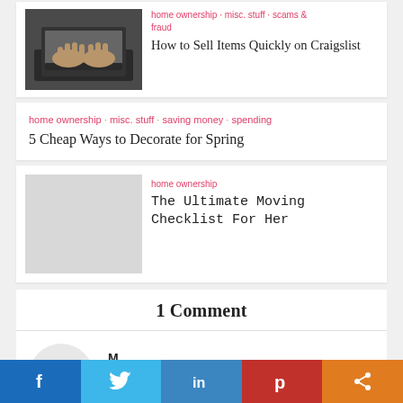[Figure (photo): Hands typing on a laptop keyboard]
home ownership · misc. stuff · scams & fraud
How to Sell Items Quickly on Craigslist
home ownership · misc. stuff · saving money · spending
5 Cheap Ways to Decorate for Spring
home ownership
The Ultimate Moving Checklist For Her
1 Comment
M
August 5, 2015 at 7:50 pm